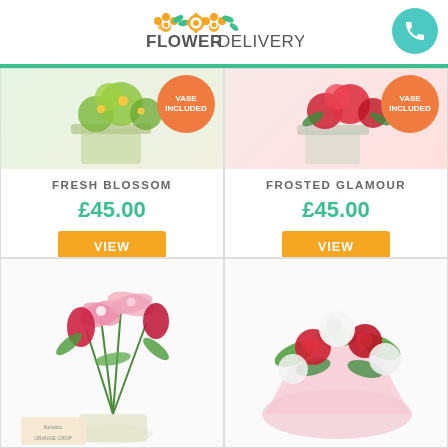FLOWER DELIVERY
[Figure (photo): Fresh Blossom flower arrangement in vase with orange 'VASE INCLUDED' badge]
FRESH BLOSSOM
£45.00
VIEW
[Figure (photo): Frosted Glamour flower arrangement with red flowers and orange 'VASE INCLUDED' badge]
FROSTED GLAMOUR
£45.00
VIEW
[Figure (photo): Pink lilies and red tulips bouquet in vase with product label]
[Figure (photo): Red and white roses bouquet wrapped in pink paper]